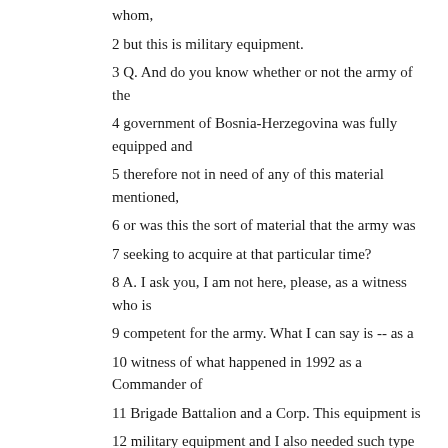whom,
2 but this is military equipment.
3 Q. And do you know whether or not the army of the
4 government of Bosnia-Herzegovina was fully equipped and
5 therefore not in need of any of this material mentioned,
6 or was this the sort of material that the army was
7 seeking to acquire at that particular time?
8 A. I ask you, I am not here, please, as a witness who is
9 competent for the army. What I can say is -- as a
10 witness of what happened in 1992 as a Commander of
11 Brigade Battalion and a Corp. This equipment is
12 military equipment and I also needed such type of
13 equipment at that time.